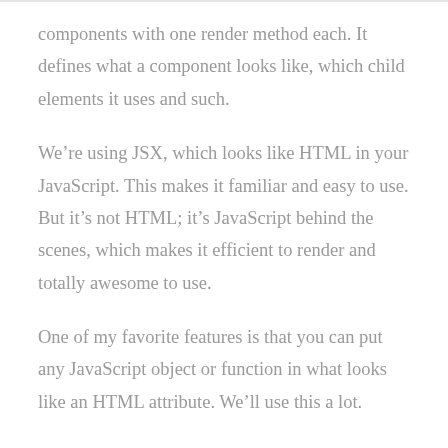components with one render method each. It defines what a component looks like, which child elements it uses and such.
We're using JSX, which looks like HTML in your JavaScript. This makes it familiar and easy to use. But it's not HTML; it's JavaScript behind the scenes, which makes it efficient to render and totally awesome to use.
One of my favorite features is that you can put any JavaScript object or function in what looks like an HTML attribute. We'll use this a lot.